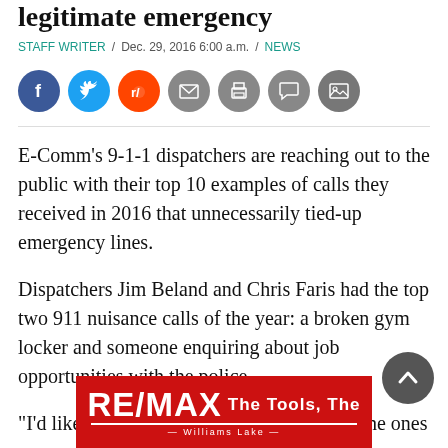legitimate emergency
STAFF WRITER / Dec. 29, 2016 6:00 a.m. / NEWS
[Figure (other): Social media sharing icons: Facebook, Twitter, Reddit, Email, Print, Comment, Gallery]
E-Comm's 9-1-1 dispatchers are reaching out to the public with their top 10 examples of calls they received in 2016 that unnecessarily tied-up emergency lines.
Dispatchers Jim Beland and Chris Faris had the top two 911 nuisance calls of the year: a broken gym locker and someone enquiring about job opportunities with the police.
“I’d like to be able to say that calls such as the ones on our
[Figure (logo): RE/MAX The Tools, The Williams Lake advertisement banner in red]